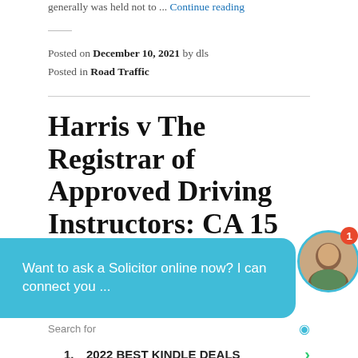generally was held not to ... Continue reading
Posted on December 10, 2021 by dls
Posted in Road Traffic
Harris v The Registrar of Approved Driving Instructors: CA 15 Jul 2019
Richards, Toulson, Burnham LLC [2019] EWCA Civ 863, [2011] RTR 1 Bailii Transport Act 1985, Road Traffic
Want to ask a Solicitor online now? I can connect you ...
Search for
1. 2022 BEST KINDLE DEALS
2. VPN HOSTING SERVER